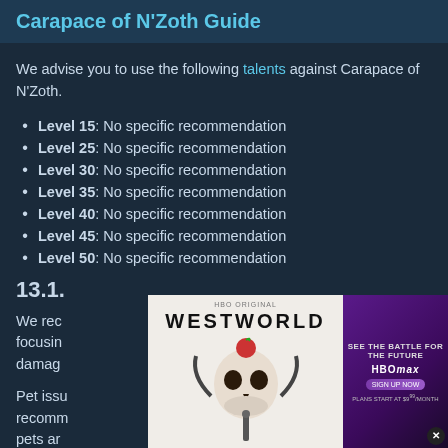Carapace of N'Zoth Guide
We advise you to use the following talents against Carapace of N'Zoth.
Level 15: No specific recommendation
Level 25: No specific recommendation
Level 30: No specific recommendation
Level 35: No specific recommendation
Level 40: No specific recommendation
Level 45: No specific recommendation
Level 50: No specific recommendation
13.1.
We recommend ... and focusing ... damage...
Pet issues... We recommend ... se pets ar...
[Figure (advertisement): Westworld HBO Max advertisement with skull robot imagery and 'SEE THE BATTLE FOR THE FUTURE' text]